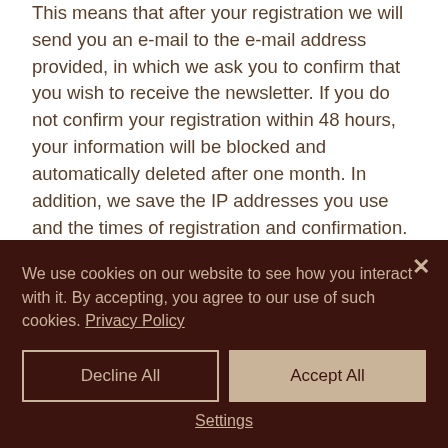This means that after your registration we will send you an e-mail to the e-mail address provided, in which we ask you to confirm that you wish to receive the newsletter. If you do not confirm your registration within 48 hours, your information will be blocked and automatically deleted after one month. In addition, we save the IP addresses you use and the times of registration and confirmation. The purpose of the procedure is to prove your registration and, if necessary, to clarify any possible misuse of your personal data. We would like to point out that you...
We use cookies on our website to see how you interact with it. By accepting, you agree to our use of such cookies. Privacy Policy
Decline All
Accept All
Settings